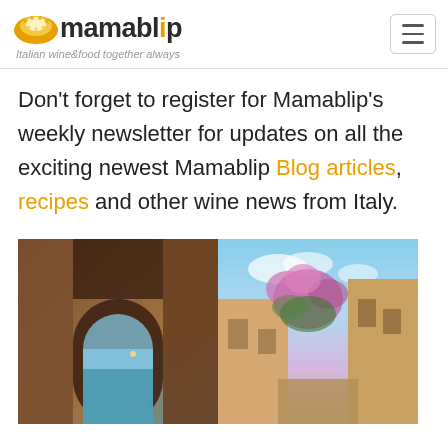mamablip — Italian wine&food together always
Don't forget to register for Mamablip's weekly newsletter for updates on all the exciting newest Mamablip Blog articles, recipes and other wine news from Italy.
[Figure (photo): Two side-by-side photos: left shows an Italian archway with a view through to the water; right shows a Mediterranean street with pink bougainvillea flowers and yellow buildings under a blue sky.]